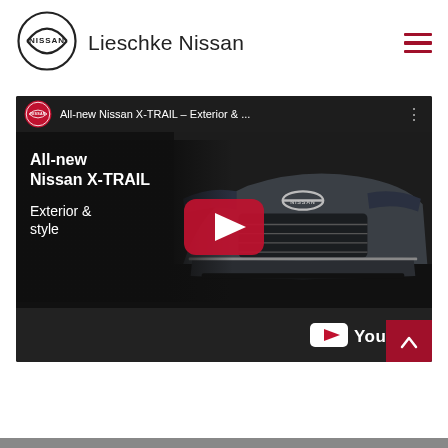[Figure (logo): Nissan logo (circular ring shape with NISSAN text)]
Lieschke Nissan
[Figure (screenshot): YouTube video thumbnail for 'All-new Nissan X-TRAIL – Exterior & ...' showing a grey Nissan X-TRAIL SUV front view, with text overlay 'All-new Nissan X-TRAIL Exterior & style', red YouTube play button in center, and YouTube logo at bottom right.]